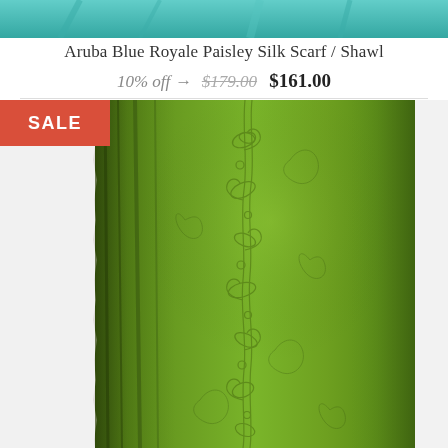[Figure (photo): Teal/turquoise fabric scarf top strip at the very top of the page]
Aruba Blue Royale Paisley Silk Scarf / Shawl
10% off → $179.00 $161.00
[Figure (photo): Green paisley silk scarf/shawl folded and draped, showing intricate paisley pattern embossed on olive-green fabric. A red SALE badge appears in the upper-left corner of the image.]